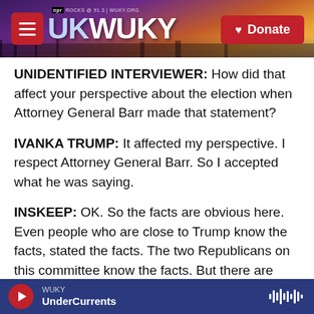WUKY ROCKS @ 91.3 | WUKY.ORG
UNIDENTIFIED INTERVIEWER: How did that affect your perspective about the election when Attorney General Barr made that statement?
IVANKA TRUMP: It affected my perspective. I respect Attorney General Barr. So I accepted what he was saying.
INSKEEP: OK. So the facts are obvious here. Even people who are close to Trump know the facts, stated the facts. The two Republicans on this committee know the facts. But there are some other lawmakers who see it in their interest to pretend the facts aren't facts or to change the
WUKY UnderCurrents